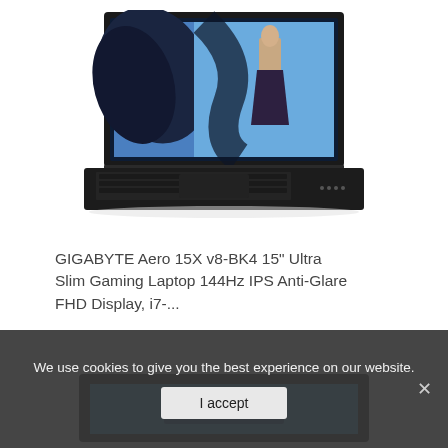[Figure (photo): GIGABYTE Aero 15X v8-BK4 gaming laptop open, showing a fashion photo on screen, black body, seen from slightly above front angle]
GIGABYTE Aero 15X v8-BK4 15" Ultra Slim Gaming Laptop 144Hz IPS Anti-Glare FHD Display, i7-...
[Figure (photo): Partial view of a second laptop product with a blue screen, cropped at the bottom of the page]
We use cookies to give you the best experience on our website.
I accept